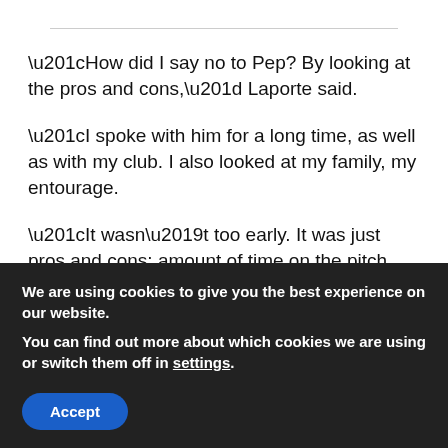“How did I say no to Pep? By looking at the pros and cons,” Laporte said.
“I spoke with him for a long time, as well as with my club. I also looked at my family, my entourage.
“It wasn’t too early. It was just pros and cons: amount of time on the pitch, me recovering from injury. These aren’t easy things to think about at my age. In the end, I had to make a choice. I did, and I’m happy.”
Follow us on Twitter and Like us on Facebook
We are using cookies to give you the best experience on our website.
You can find out more about which cookies we are using or switch them off in settings.